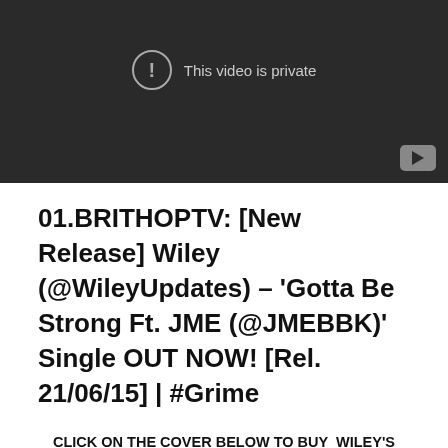[Figure (screenshot): YouTube video embed showing 'This video is private' message with exclamation icon and YouTube logo in bottom right corner, dark background.]
01.BRITHOPTV: [New Release] Wiley (@WileyUpdates) – 'Gotta Be Strong Ft. JME (@JMEBBK)' Single OUT NOW! [Rel. 21/06/15] | #Grime
CLICK ON THE COVER BELOW TO BUY  WILEY'S 'GOTTA BE STRONG FT .JME' SINGLE ON ITUNES